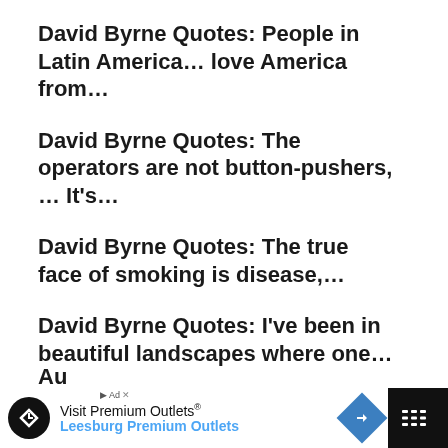David Byrne Quotes: People in Latin America… love America from…
David Byrne Quotes: The operators are not button-pushers, … It's…
David Byrne Quotes: The true face of smoking is disease,…
David Byrne Quotes: I've been in beautiful landscapes where one…
David Byrne Quotes: Punk was defined by an attitude rather…
[Figure (other): Advertisement banner: Visit Premium Outlets® Leesburg Premium Outlets with logo and arrow icon]
Au...